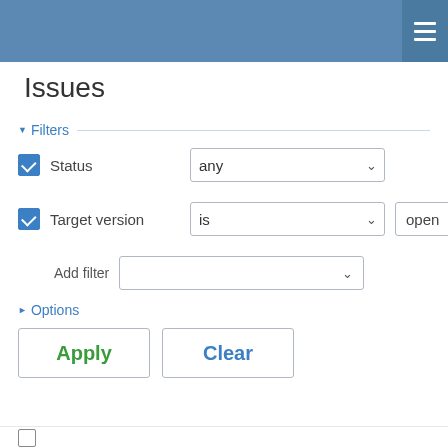Issues
▼ Filters
Status — any (dropdown)
Target version — is (dropdown) — open
Add filter (dropdown)
▶ Options
Apply | Clear